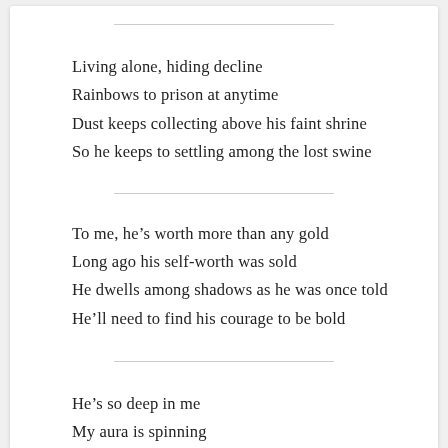Living alone, hiding decline
Rainbows to prison at anytime
Dust keeps collecting above his faint shrine
So he keeps to settling among the lost swine
To me, he’s worth more than any gold
Long ago his self-worth was sold
He dwells among shadows as he was once told
He’ll need to find his courage to be bold
He’s so deep in me
My aura is spinning